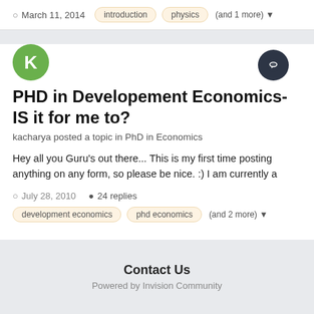March 11, 2014  introduction  physics  (and 1 more)
PHD in Developement Economics- IS it for me to?
kacharya posted a topic in PhD in Economics
Hey all you Guru's out there... This is my first time posting anything on any form, so please be nice. :) I am currently a
July 28, 2010  24 replies
development economics  phd economics  (and 2 more)
Contact Us
Powered by Invision Community